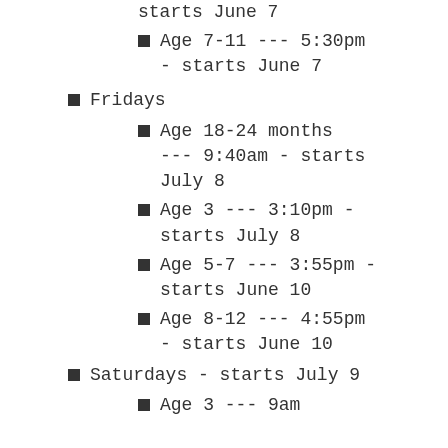starts June 7
Age 7-11  --- 5:30pm - starts June 7
Fridays
Age 18-24 months --- 9:40am - starts July 8
Age 3 --- 3:10pm - starts July 8
Age 5-7  --- 3:55pm - starts June 10
Age 8-12  --- 4:55pm - starts June 10
Saturdays - starts July 9
Age 3 --- 9am